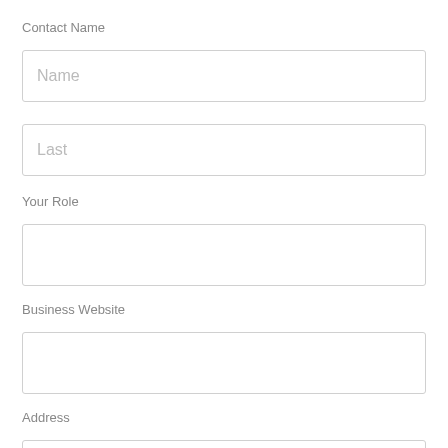Contact Name
Name
Last
Your Role
Business Website
Address
Street Address